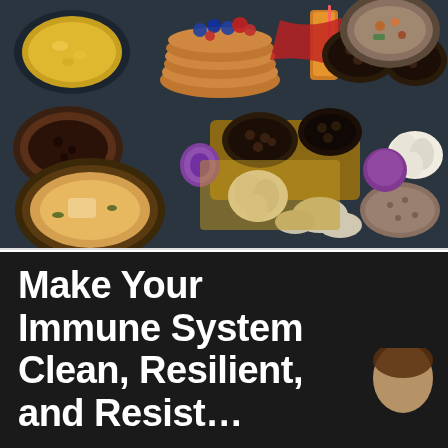[Figure (photo): Colorful spread of various foods including yellow rice, pancakes with berries, soups, beans in dark bowls, garlic, mushrooms, and other ingredients arranged on a dark blue background]
Make Your Immune System Clean, Resilient, and Resistant…